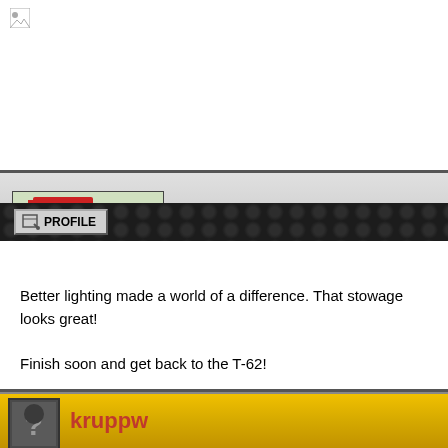[Figure (screenshot): Broken image icon in top white section]
[Figure (photo): Cyclist racing on track with crowd in background - avatar for shopkin4]
shopkin4
PROFILE
Better lighting made a world of a difference. That stowage looks great!

Finish soon and get back to the T-62!
[Figure (illustration): Unknown user silhouette avatar with question mark for kruppw]
kruppw